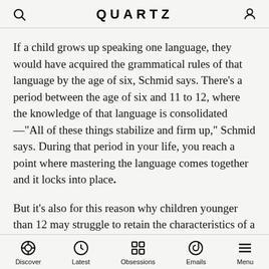QUARTZ
If a child grows up speaking one language, they would have acquired the grammatical rules of that language by the age of six, Schmid says. There’s a period between the age of six and 11 to 12, where the knowledge of that language is consolidated—“All of these things stabilize and firm up,” Schmid says. During that period in your life, you reach a point where mastering the language comes together and it locks into place.
But it’s also for this reason why children younger than 12 may struggle to retain the characteristics of a native speaker if they move. They might retain some knowledge of their first language, but they’ll likely speak it with a foreign accent, littered with grammatical mistakes.
Discover | Latest | Obsessions | Emails | Menu